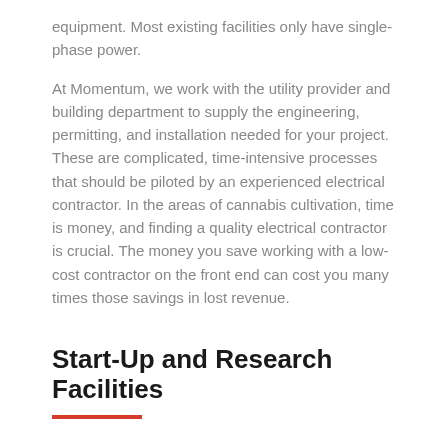equipment. Most existing facilities only have single-phase power. At Momentum, we work with the utility provider and building department to supply the engineering, permitting, and installation needed for your project. These are complicated, time-intensive processes that should be piloted by an experienced electrical contractor. In the areas of cannabis cultivation, time is money, and finding a quality electrical contractor is crucial. The money you save working with a low-cost contractor on the front end can cost you many times those savings in lost revenue.
Start-Up and Research Facilities
Momentum is located in one of the world's most innovative regions. We have a long history of providing